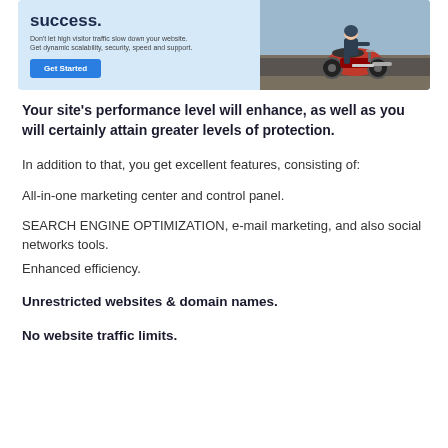[Figure (screenshot): Website hosting advertisement banner with light blue background showing bold 'success.' heading, subtitle text 'Don't let high visitor traffic slow down your website. Get dynamic scalability, security, speed and support.', a blue 'Get Started' button, and a photo of a person riding a motorcycle on the right side.]
Your site's performance level will enhance, as well as you will certainly attain greater levels of protection.
In addition to that, you get excellent features, consisting of:
All-in-one marketing center and control panel.
SEARCH ENGINE OPTIMIZATION, e-mail marketing, and also social networks tools.
Enhanced efficiency.
Unrestricted websites & domain names.
No website traffic limits.